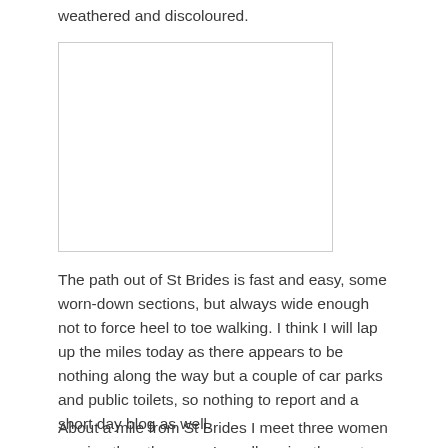weathered and discoloured.
[Figure (photo): A blank/white image placeholder with a light grey border.]
The path out of St Brides is fast and easy, some worn-down sections, but always wide enough not to force heel to toe walking. I think I will lap up the miles today as there appears to be nothing along the way but a couple of car parks and public toilets, so nothing to report and a short day blog as well.
About a mile from St Brides I meet three women coming the other way. I recall seeing them at the St Brides car